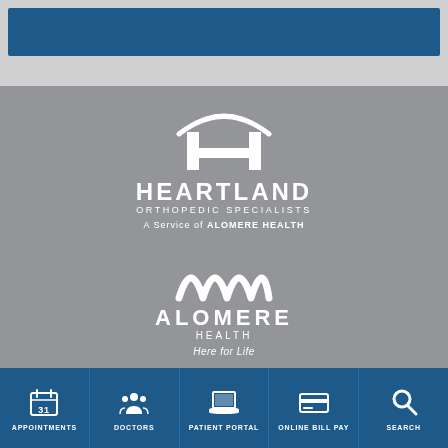[Figure (screenshot): Top area with gray background frame containing a dark blue rectangular bar]
[Figure (logo): Heartland Orthopedic Specialists logo - white H icon with swoosh, text HEARTLAND ORTHOPEDIC SPECIALISTS, A Service of ALOMERE HEALTH, on gray background]
[Figure (logo): Alomere Health logo - white triple-wave M icon, text ALOMERE HEALTH, Here for Life tagline, on gray background]
[Figure (screenshot): Dark blue navigation bar with 5 items: APPOINTMENTS (calendar icon), DOCTORS (people icon), PATIENT PORTAL (laptop icon), ONLINE BILL PAY (credit card icon), SEARCH (magnifier icon)]